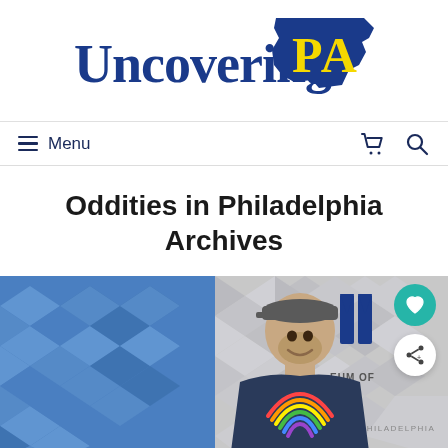[Figure (logo): Uncovering PA logo — 'Uncovering' in bold blue serif text and 'PA' in bold yellow text on a blue Pennsylvania state silhouette]
≡ Menu
Oddities in Philadelphia Archives
[Figure (photo): A man wearing a cap and a navy t-shirt with a rainbow graphic stands smiling in front of a geometric patterned wall. Text on the wall reads 'EUM OF IONS' (Museum of Illusions) and 'PHILADELPHIA'. Left side shows a blue geometric tiled wall.]